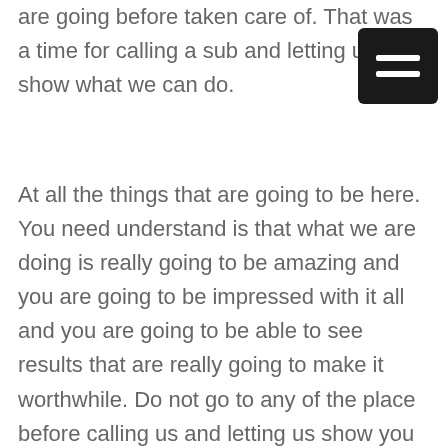are going before taken care of. That was a time for calling a sub and letting us show what we can do.
At all the things that are going to be here. You need understand is that what we are doing is really going to be amazing and you are going to be impressed with it all and you are going to be able to see results that are really going to make it worthwhile. Do not go to any of the place before calling us and letting us show you how we can really make the end result that you are needing to get taken care of on your side. Do not waste any time for getting started with us today and letting it show you what we can do.